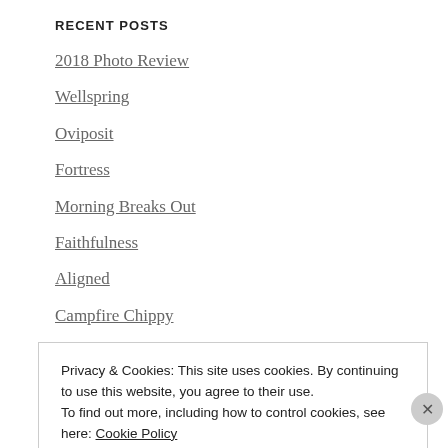RECENT POSTS
2018 Photo Review
Wellspring
Oviposit
Fortress
Morning Breaks Out
Faithfulness
Aligned
Campfire Chippy
Autumn in the Hills
Rushing Waters
Privacy & Cookies: This site uses cookies. By continuing to use this website, you agree to their use.
To find out more, including how to control cookies, see here: Cookie Policy
Close and accept